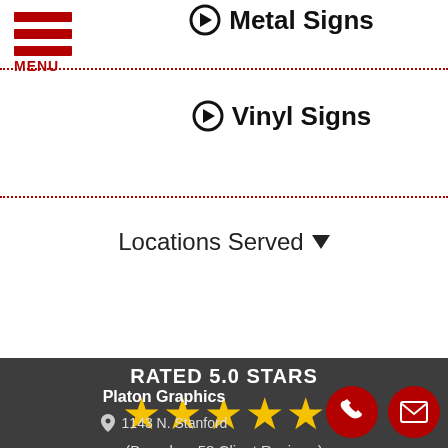Metal Signs
Vinyl Signs
Locations Served
RATED 5.0 STARS
(Based on 58 Client Reviews)
Platon Graphics
1143 N. Stanford